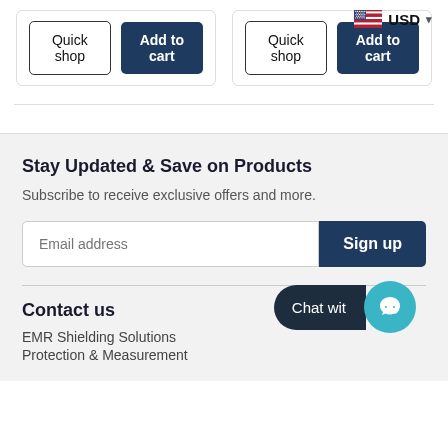Quick shop | Add to cart (left card)
Quick shop | Add to cart (right card)
USD
Stay Updated & Save on Products
Subscribe to receive exclusive offers and more.
Email address
Sign up
Contact us
Chat wit
EMR Shielding Solutions
Protection & Measurement